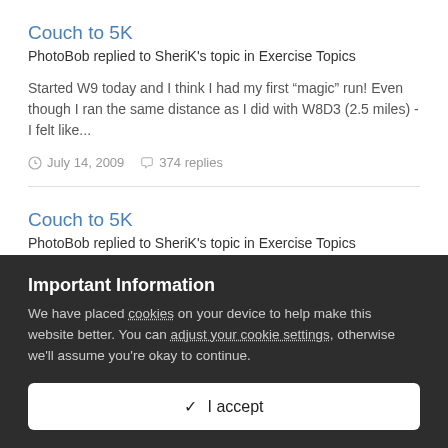Couch to 5K
PhotoBob replied to SheriK's topic in Exercise Topics
Started W9 today and I think I had my first “magic” run! Even though I ran the same distance as I did with W8D3 (2.5 miles) - I felt like...
July 14, 2009   374 replies
Couch to 5K
PhotoBob replied to SheriK's topic in Exercise Topics
Congratulations Kristi on finishing the program!! Give yourself a great big pat on the back!! Bob
Important Information
We have placed cookies on your device to help make this website better. You can adjust your cookie settings, otherwise we’ll assume you’re okay to continue.
✓  I accept